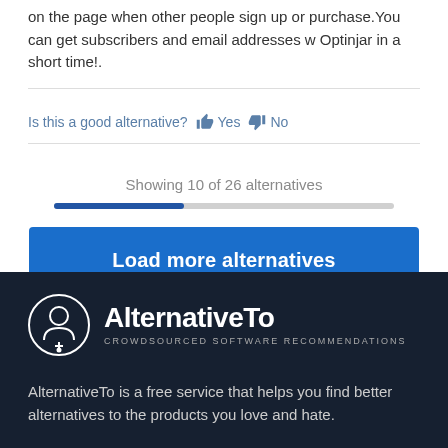on the page when other people sign up or purchase.You can get subscribers and email addresses w Optinjar in a short time!.
Is this a good alternative? 👍 Yes 👎 No
Showing 10 of 26 alternatives
Load more alternatives
[Figure (logo): AlternativeTo logo with circular icon and text 'AlternativeTo - CROWDSOURCED SOFTWARE RECOMMENDATIONS' on dark navy background]
AlternativeTo is a free service that helps you find better alternatives to the products you love and hate.